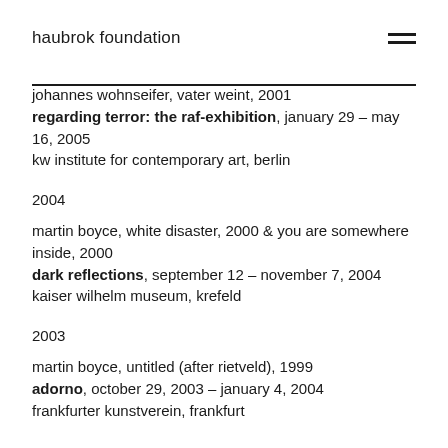haubrok foundation
johannes wohnseifer, vater weint, 2001
regarding terror: the raf-exhibition, january 29 – may 16, 2005
kw institute for contemporary art, berlin
2004
martin boyce, white disaster, 2000 & you are somewhere inside, 2000
dark reflections, september 12 – november 7, 2004
kaiser wilhelm museum, krefeld
2003
martin boyce, untitled (after rietveld), 1999
adorno, october 29, 2003 – january 4, 2004
frankfurter kunstverein, frankfurt